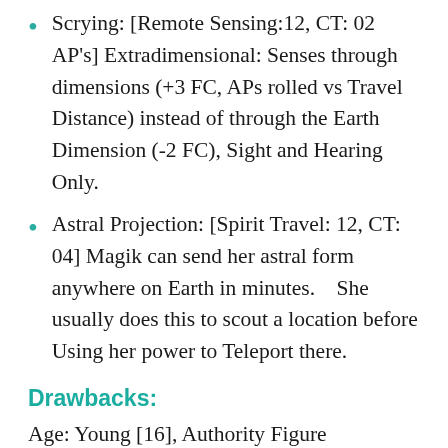Scrying: [Remote Sensing:12, CT: 02 AP's] Extradimensional: Senses through dimensions (+3 FC, APs rolled vs Travel Distance) instead of through the Earth Dimension (-2 FC), Sight and Hearing Only.
Astral Projection: [Spirit Travel: 12, CT: 04] Magik can send her astral form anywhere on Earth in minutes.   She usually does this to scout a location before Using her power to Teleport there.
Drawbacks:
Age: Young [16], Authority Figure [Sorceress